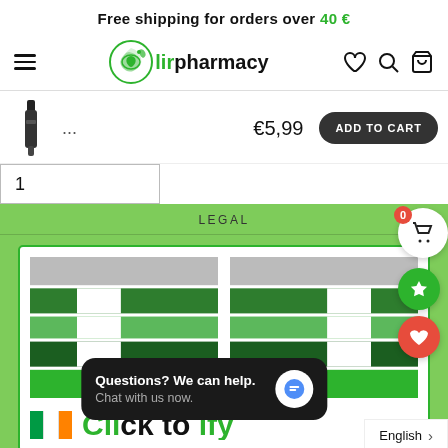Free shipping for orders over 40 €
[Figure (logo): Lir Pharmacy logo with green swan icon and text 'lirpharmacy']
[Figure (photo): Product thumbnail - small black device/pen]
€5,99   ADD TO CART
1
LEGAL
[Figure (illustration): Green pharmacy cross logo repeated twice inside a white card with green border, on light green background]
[Figure (illustration): Irish flag with green, white, and orange vertical stripes, next to large green text (partially visible)]
Questions? We can help. Chat with us now.
English >